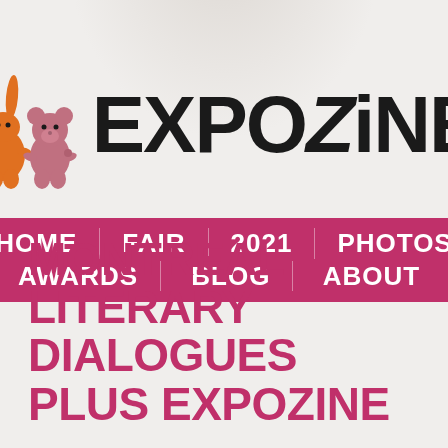[Figure (logo): Expozine logo with two illustrated characters (orange rabbit and pink bear) and bold black text 'EXPOZiNE']
HOME   FAIR   2021   PHOTOS
AWARDS   BLOG   ABOUT
MONTREAL LITERARY DIALOGUES PLUS EXPOZINE